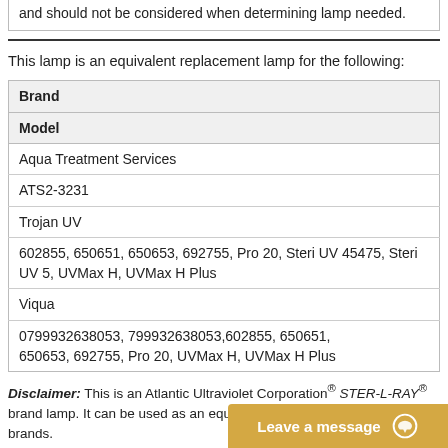and should not be considered when determining lamp needed.
This lamp is an equivalent replacement lamp for the following:
| Brand | Model |
| --- | --- |
| Aqua Treatment Services | ATS2-3231 |
| Trojan UV | 602855, 650651, 650653, 692755, Pro 20, Steri UV 45475, Steri UV 5, UVMax H, UVMax H Plus |
| Viqua | 0799932638053, 799932638053,602855, 650651, 650653, 692755, Pro 20, UVMax H, UVMax H Plus |
Disclaimer: This is an Atlantic Ultraviolet Corporation® STER-L-RAY® brand lamp. It can be used as an equivalent replacement lamp for other brands.